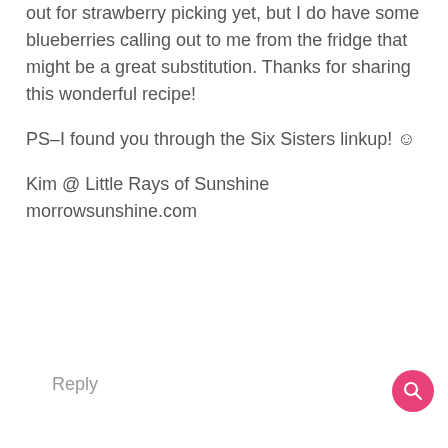out for strawberry picking yet, but I do have some blueberries calling out to me from the fridge that might be a great substitution. Thanks for sharing this wonderful recipe!
PS–I found you through the Six Sisters linkup! ☺
Kim @ Little Rays of Sunshine morrowsunshine.com
Reply